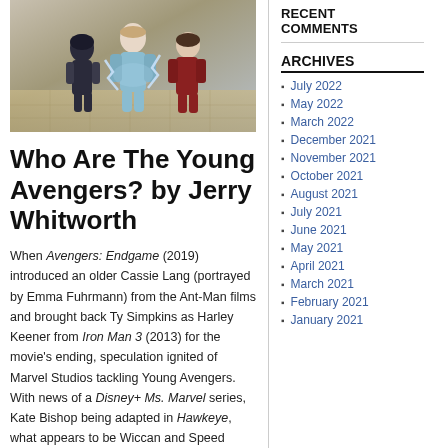[Figure (illustration): Illustration of young superhero characters in action poses with lightning effects]
Who Are The Young Avengers? by Jerry Whitworth
When Avengers: Endgame (2019) introduced an older Cassie Lang (portrayed by Emma Fuhrmann) from the Ant-Man films and brought back Ty Simpkins as Harley Keener from Iron Man 3 (2013) for the movie's ending, speculation ignited of Marvel Studios tackling Young Avengers. With news of a Disney+ Ms. Marvel series, Kate Bishop being adapted in Hawkeye, what appears to be Wiccan and Speed emerging in WandaVision, Spider-Man seemingly remaining in the Marvel Cinematic
RECENT COMMENTS
ARCHIVES
July 2022
May 2022
March 2022
December 2021
November 2021
October 2021
August 2021
July 2021
June 2021
May 2021
April 2021
March 2021
February 2021
January 2021